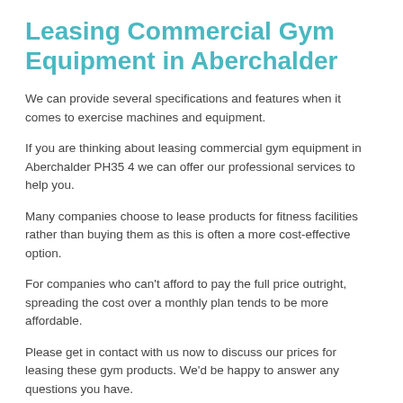Leasing Commercial Gym Equipment in Aberchalder
We can provide several specifications and features when it comes to exercise machines and equipment.
If you are thinking about leasing commercial gym equipment in Aberchalder PH35 4 we can offer our professional services to help you.
Many companies choose to lease products for fitness facilities rather than buying them as this is often a more cost-effective option.
For companies who can't afford to pay the full price outright, spreading the cost over a monthly plan tends to be more affordable.
Please get in contact with us now to discuss our prices for leasing these gym products. We'd be happy to answer any questions you have.